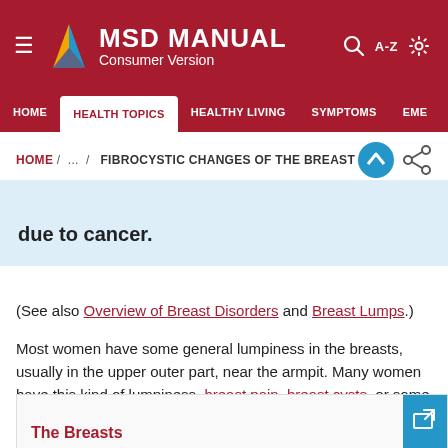MSD MANUAL Consumer Version
HOME / ... / FIBROCYSTIC CHANGES OF THE BREAST
due to cancer.
(See also Overview of Breast Disorders and Breast Lumps.)
Most women have some general lumpiness in the breasts, usually in the upper outer part, near the armpit. Many women have this kind of lumpiness, breast pain, breast cysts, or some combination of these symptoms—a condition called fibrocystic changes.
The Breasts